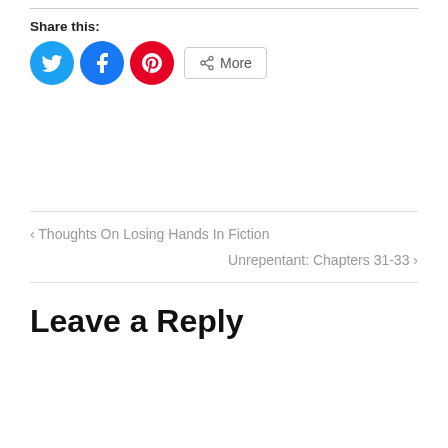Share this:
[Figure (other): Social share buttons: Twitter (blue circle), Facebook (blue circle), Pinterest (red circle), and a More button with share icon]
‹ Thoughts On Losing Hands In Fiction
Unrepentant: Chapters 31-33 ›
Leave a Reply